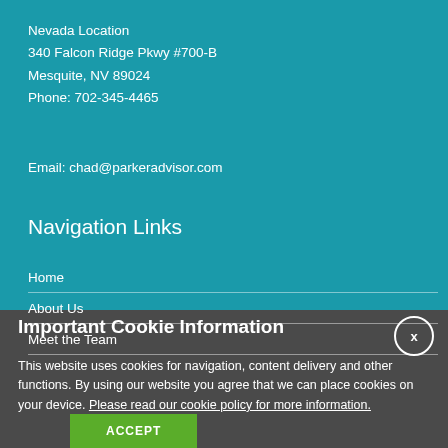Nevada Location
340 Falcon Ridge Pkwy #700-B
Mesquite, NV 89024
Phone: 702-345-4465
Email: chad@parkeradvisor.com
Navigation Links
Home
About Us
Meet the Team
Important Cookie Information
This website uses cookies for navigation, content delivery and other functions. By using our website you agree that we can place cookies on your device. Please read our cookie policy for more information.
ACCEPT